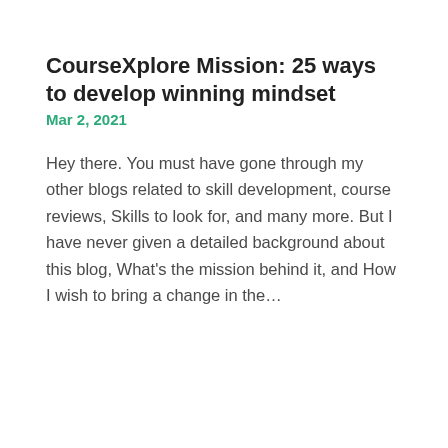CourseXplore Mission: 25 ways to develop winning mindset
Mar 2, 2021
Hey there. You must have gone through my other blogs related to skill development, course reviews, Skills to look for, and many more. But I have never given a detailed background about this blog, What’s the mission behind it, and How I wish to bring a change in the…